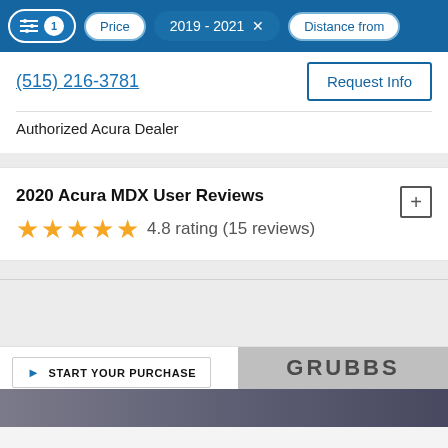Filters: 1 | Price | 2019-2021 × | Distance from
(515) 216-3781
Request Info
Authorized Acura Dealer
2020 Acura MDX User Reviews
4.8 rating (15 reviews)
START YOUR PURCHASE